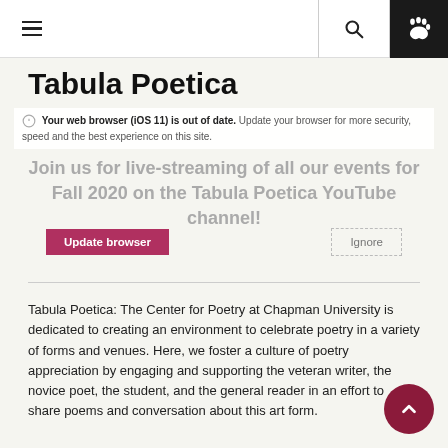≡  🔍  🐾
Tabula Poetica
Your web browser (iOS 11) is out of date. Update your browser for more security, speed and the best experience on this site.
Join us for live-streaming of all our events for Fall 2020 on the Tabula Poetica YouTube channel!
Update browser   Ignore
Tabula Poetica: The Center for Poetry at Chapman University is dedicated to creating an environment to celebrate poetry in a variety of forms and venues. Here, we foster a culture of poetry appreciation by engaging and supporting the veteran writer, the novice poet, the student, and the general reader in an effort to share poems and conversation about this art form.